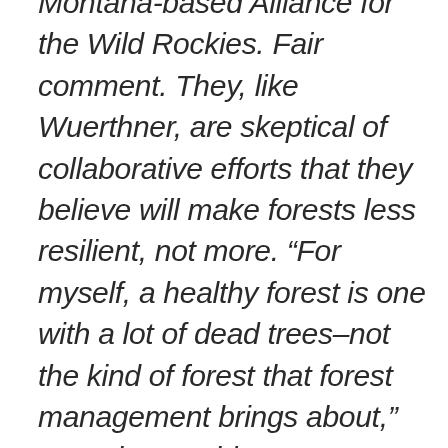Montana-based Alliance for the Wild Rockies. Fair comment. They, like Wuerthner, are skeptical of collaborative efforts that they believe will make forests less resilient, not more. “For myself, a healthy forest is one with a lot of dead trees–not the kind of forest that forest management brings about,” Wuerthner said. “So I suspect since my definition is different, my goals would be different from the industry and organizations quoted in the article.”